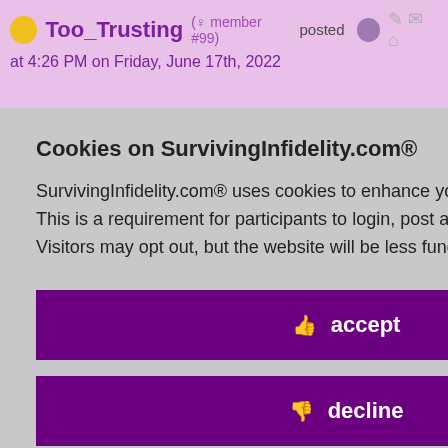Too_Trusting (♀ member #99) posted at 4:26 PM on Friday, June 17th, 2022
…ng easy has its one loved can be
2
id 8740699
sted
Cookies on SurvivingInfidelity.com®
SurvivingInfidelity.com® uses cookies to enhance your visit to our website. This is a requirement for participants to login, post and use other features. Visitors may opt out, but the website will be less functional for you.
👍 accept
👎 decline
🍪 about cookies
Policy